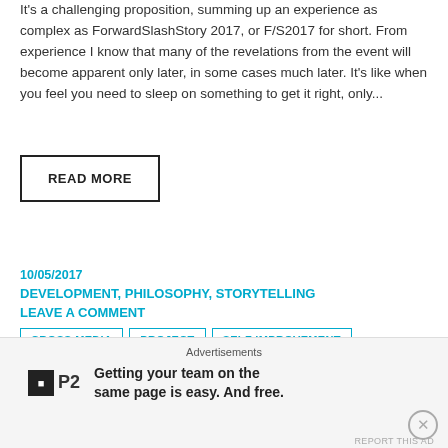It's a challenging proposition, summing up an experience as complex as ForwardSlashStory 2017, or F/S2017 for short. From experience I know that many of the revelations from the event will become apparent only later, in some cases much later. It's like when you feel you need to sleep on something to get it right, only...
READ MORE
10/05/2017
DEVELOPMENT, PHILOSOPHY, STORYTELLING
LEAVE A COMMENT
CROSS MEDIA
PROJECT
SELF IMPROVEMENT
Advertisements
Getting your team on the same page is easy. And free.